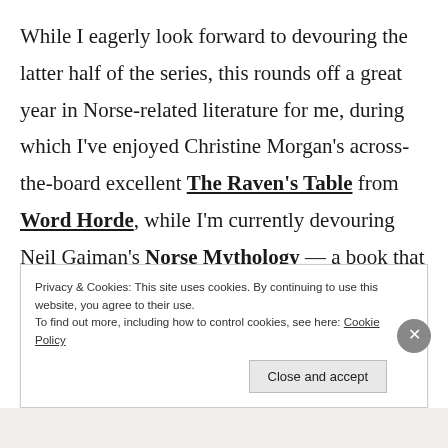While I eagerly look forward to devouring the latter half of the series, this rounds off a great year in Norse-related literature for me, during which I've enjoyed Christine Morgan's across-the-board excellent The Raven's Table from Word Horde, while I'm currently devouring Neil Gaiman's Norse Mythology — a book that so far displays the popular myth-maker's slinky and pleasant way with words, if nothing else.
Privacy & Cookies: This site uses cookies. By continuing to use this website, you agree to their use. To find out more, including how to control cookies, see here: Cookie Policy